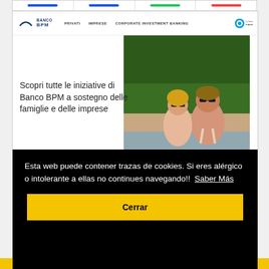[Figure (screenshot): Banco BPM website screenshot showing navigation bar with logo, PRIVATI, IMPRESE, CORPORATE INVESTMENT BANKING links and Trapanuts badge]
Scopri tutte le iniziative di Banco BPM a sostegno delle famiglie e delle imprese
[Figure (photo): Two women wearing sunglasses outdoors near water and trees]
Esta web puede contener trazas de cookies. Si eres alérgico o intolerante a ellas no continues navegando!!  Saber Más
Cerrar